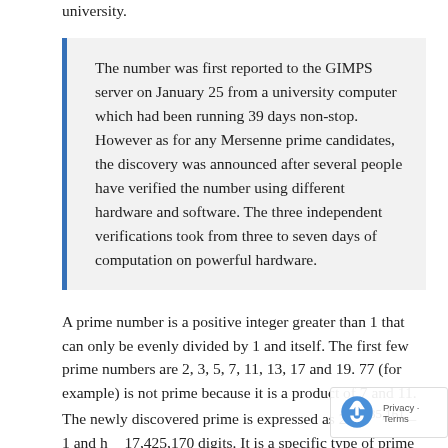university.
The number was first reported to the GIMPS server on January 25 from a university computer which had been running 39 days non-stop. However as for any Mersenne prime candidates, the discovery was announced after several people have verified the number using different hardware and software. The three independent verifications took from three to seven days of computation on powerful hardware.
A prime number is a positive integer greater than 1 that can only be evenly divided by 1 and itself. The first few prime numbers are 2, 3, 5, 7, 11, 13, 17 and 19. 77 (for example) is not prime because it is a product of 7 and 11. The newly discovered prime is expressed as 2^57,885,161 – 1 and has 17,425,170 digits. It is a specific type of prime number called a Mersenne prime, which are of the form 2^p – 1 (the exponent p must be prime for the number to be prime. As